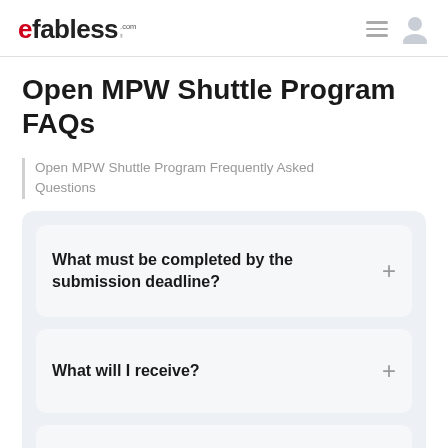efabless.com
Open MPW Shuttle Program FAQs
Open MPW Shuttle Program Frequently Asked Questions
What must be completed by the submission deadline?
What will I receive?
How are projects selected?